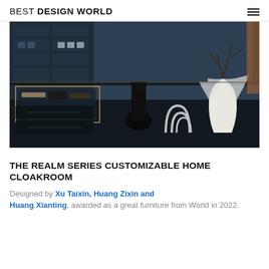BEST DESIGN WORLD
[Figure (photo): Interior photo of a luxury home cloakroom featuring dark shelving units with compartments, a black bust sculpture, a white sculptural vase, chrome decorative arches, and jewelry/accessories displayed in a glass case on a dark counter.]
THE REALM SERIES CUSTOMIZABLE HOME CLOAKROOM
Designed by Xu Taixin, Huang Zixin and Huang Xianting, awarded as a great furniture from World in 2022.